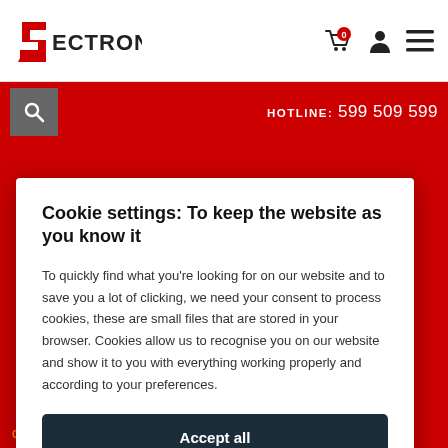[Figure (logo): Sectron logo — red S shape with ECTRON text]
HOTLINE:  599 509 599
Cookie settings: To keep the website as you know it
To quickly find what you're looking for on our website and to save you a lot of clicking, we need your consent to process cookies, these are small files that are stored in your browser. Cookies allow us to recognise you on our website and show it to you with everything working properly and according to your preferences.
Accept all
Settings
ON REQUEST  |  When do I get the item?